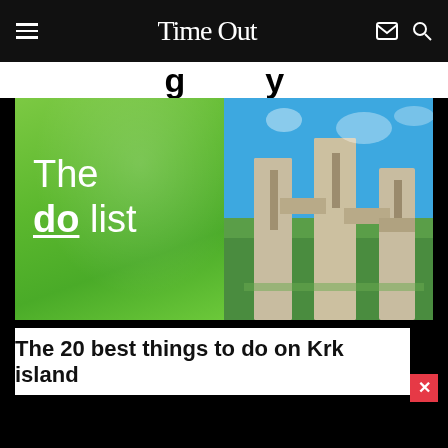Time Out
g y
[Figure (illustration): Split image: left half shows green background with white text 'The do list' (do is bold and underlined); right half shows a stone monument/sculpture against blue sky]
The 20 best things to do on Krk island